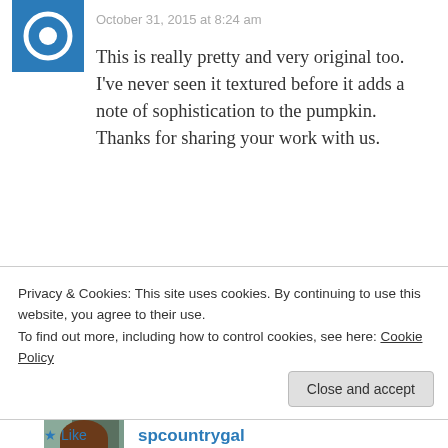[Figure (illustration): Blue avatar icon with white circular symbol, representing a WordPress/blog user avatar]
October 31, 2015 at 8:24 am
This is really pretty and very original too. I've never seen it textured before it adds a note of sophistication to the pumpkin. Thanks for sharing your work with us.
★ Liked by 1 person
Reply
[Figure (photo): Profile photo of spcountrygal, a woman with brown hair smiling outdoors near a tree]
spcountrygal
November 5, 2015 at 3:48 pm
Privacy & Cookies: This site uses cookies. By continuing to use this website, you agree to their use.
To find out more, including how to control cookies, see here: Cookie Policy
Close and accept
Like